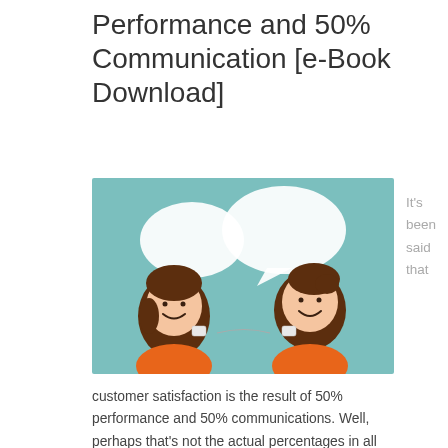Performance and 50% Communication [e-Book Download]
[Figure (illustration): Cartoon illustration of two people (a girl with brown hair and a boy with brown hair) talking to each other using tin can phones, with speech bubbles above them, on a light teal/mint background. Both characters wear orange shirts.]
It's been said that
customer satisfaction is the result of 50% performance and 50% communications. Well, perhaps that's not the actual percentages in all cases. However, creating truly satisfied customers, especially for services, you need to